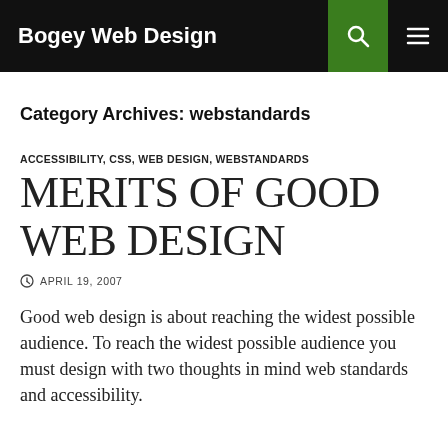Bogey Web Design
Category Archives: webstandards
ACCESSIBILITY, CSS, WEB DESIGN, WEBSTANDARDS
MERITS OF GOOD WEB DESIGN
APRIL 19, 2007
Good web design is about reaching the widest possible audience. To reach the widest possible audience you must design with two thoughts in mind web standards and accessibility.